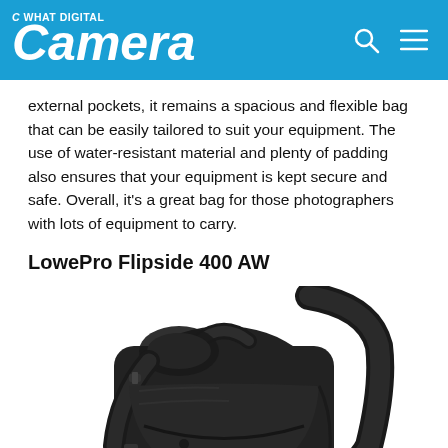What Digital Camera
external pockets, it remains a spacious and flexible bag that can be easily tailored to suit your equipment. The use of water-resistant material and plenty of padding also ensures that your equipment is kept secure and safe. Overall, it's a great bag for those photographers with lots of equipment to carry.
LowePro Flipside 400 AW
[Figure (photo): LowePro Flipside 400 AW camera backpack in black, shown from the front/side angle displaying shoulder straps and front zipper compartment]